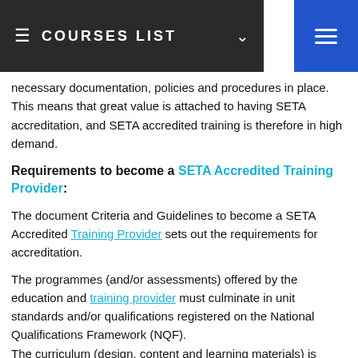COURSES LIST
necessary documentation, policies and procedures in place. This means that great value is attached to having SETA accreditation, and SETA accredited training is therefore in high demand.
Requirements to become a SETA Accredited Training Provider:
The document Criteria and Guidelines to become a SETA Accredited Training Provider sets out the requirements for accreditation.
The programmes (and/or assessments) offered by the education and training provider must culminate in unit standards and/or qualifications registered on the National Qualifications Framework (NQF). The curriculum (design, content and learning materials) is aligned to the unit standards and/or qualifications. There are suitably qualified staff (facilitators and
Generated by Feedzy